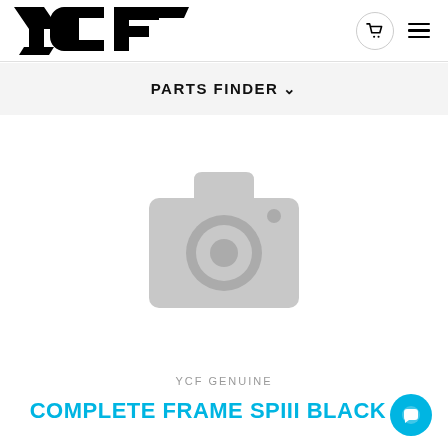[Figure (logo): YCF brand logo in bold black stylized lettering]
PARTS FINDER
[Figure (photo): Placeholder image with grey camera icon indicating no product photo available]
YCF GENUINE
COMPLETE FRAME SPIII BLACK 20